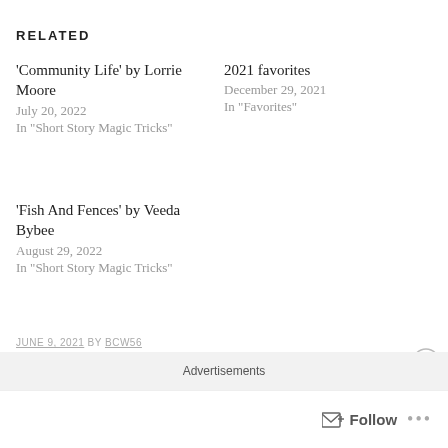RELATED
'Community Life' by Lorrie Moore
July 20, 2022
In "Short Story Magic Tricks"
2021 favorites
December 29, 2021
In "Favorites"
'Fish And Fences' by Veeda Bybee
August 29, 2022
In "Short Story Magic Tricks"
JUNE 9, 2021 BY BCW56
CATEGORIES: SHORT STORY MAGIC TRICKS
TAGS: 1960S, ANALYSIS, BRITISH LIT, BRITISH LITERATURE, CRITICISM, ENGLAND, ENGLISH LIT, ENGLISH LITERATURE, FICTION, H.E. BATES, SHORT STORIES, THE SPRING HAT
Advertisements
Follow